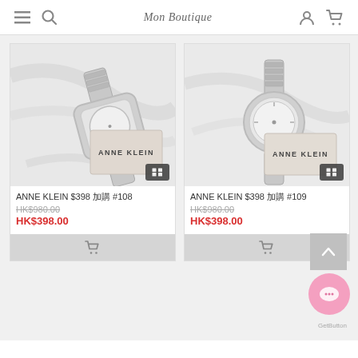Mon Boutique — navigation header with menu, search, account, cart icons
[Figure (photo): Anne Klein silver watch with ANNE KLEIN card display, product #108]
[Figure (photo): Anne Klein silver watch with ANNE KLEIN card display, product #109]
ANNE KLEIN $398 加購 #108
HK$980.00 (strikethrough original price)
HK$398.00 (sale price)
ANNE KLEIN $398 加購 #109
HK$980.00 (strikethrough original price)
HK$398.00 (sale price)